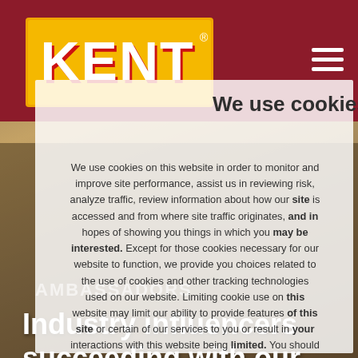[Figure (logo): Kent brand logo — yellow/orange background with 'KENT' in bold white letters with red outline, positioned in top-left header]
We use cookies
We use cookies on this website in order to monitor and improve site performance, assist us in reviewing risk, analyze traffic, review information about how our site is accessed and from where site traffic originates, and in hopes of showing you things in which you may be interested. Except for those cookies necessary for our website to function, we provide you choices related to the use of cookies and other tracking technologies used on our website. Limiting cookie use on this website may limit our ability to provide features of this site or certain of our services to you or result in your interactions with this website being limited. You should
AMBASSADORS
Industry influencers succeeding with our products